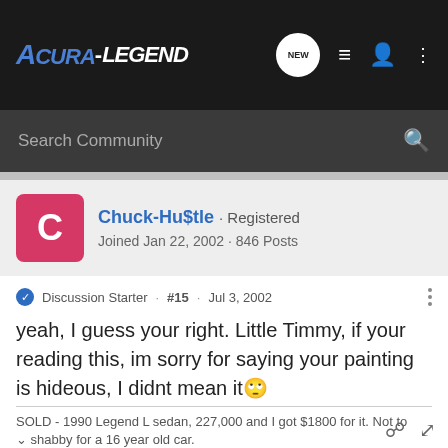ACURA-LEGEND (navigation bar with NEW, list, user, and more icons)
Search Community
[Figure (other): User avatar: pink/red square with white letter C]
Chuck-Hu$tle · Registered
Joined Jan 22, 2002 · 846 Posts
Discussion Starter · #15 · Jul 3, 2002
yeah, I guess your right. Little Timmy, if your reading this, im sorry for saying your painting is hideous, I didnt mean it 🙄
SOLD - 1990 Legend L sedan, 227,000 and I got $1800 for it. Not to shabby for a 16 year old car.